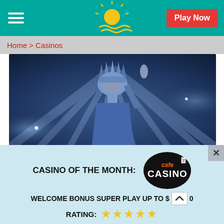Play Now
Home > Casinos
[Figure (illustration): Hero image of the Statue of Liberty in dark blue tones with dramatic light rays in the background]
CASINO OF THE MONTH:
[Figure (logo): Cafe Casino logo — dark circular badge with 'cafe' in orange italic and 'CASINO' in white bold, with playing card suit icons]
WELCOME BONUS SUPER PLAY UP TO $___0
RATING: ★★★★★
Get Bonus